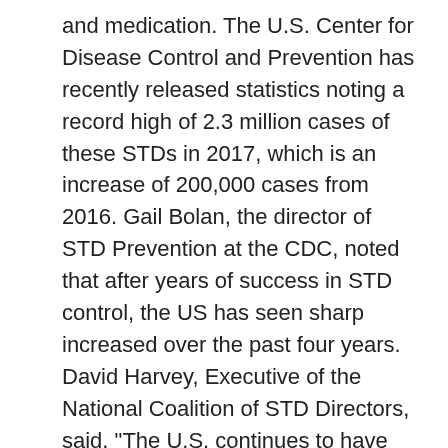and medication. The U.S. Center for Disease Control and Prevention has recently released statistics noting a record high of 2.3 million cases of these STDs in 2017, which is an increase of 200,000 cases from 2016. Gail Bolan, the director of STD Prevention at the CDC, noted that after years of success in STD control, the US has seen sharp increased over the past four years. David Harvey, Executive of the National Coalition of STD Directors, said, "The U.S. continues to have the highest STD rates in the industrialized world." This is largely due to the fact that so many people do not know they are infected with STDs; symptoms may not arise for weeks after one is infected. Therefore people may be unaware that are...